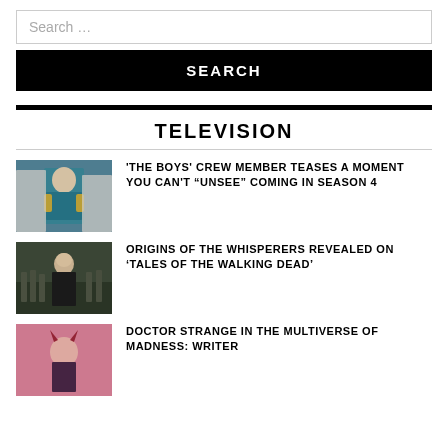Search …
SEARCH
TELEVISION
'THE BOYS' CREW MEMBER TEASES A MOMENT YOU CAN'T “UNSEE” COMING IN SEASON 4
ORIGINS OF THE WHISPERERS REVEALED ON ‘TALES OF THE WALKING DEAD’
DOCTOR STRANGE IN THE MULTIVERSE OF MADNESS: WRITER